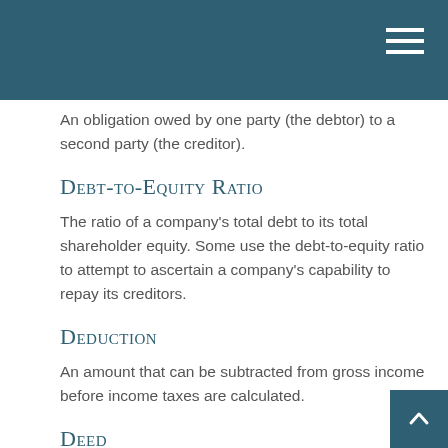An obligation owed by one party (the debtor) to a second party (the creditor).
Debt-to-Equity Ratio
The ratio of a company's total debt to its total shareholder equity. Some use the debt-to-equity ratio to attempt to ascertain a company's capability to repay its creditors.
Deduction
An amount that can be subtracted from gross income before income taxes are calculated.
Deed
A legal document that confirms ownership of an as… or that confirms the passage of an interest, right, or